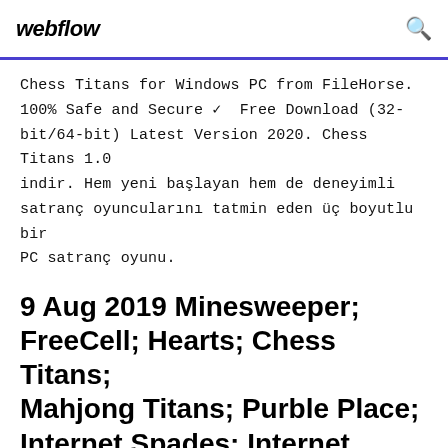webflow
Chess Titans for Windows PC from FileHorse. 100% Safe and Secure ✓ Free Download (32-bit/64-bit) Latest Version 2020. Chess Titans 1.0 indir. Hem yeni başlayan hem de deneyimli satranç oyuncularını tatmin eden üç boyutlu bir PC satranç oyunu.
9 Aug 2019 Minesweeper; FreeCell; Hearts; Chess Titans; Mahjong Titans; Purble Place; Internet Spades; Internet Checkers; Internet Backgammon. Windows